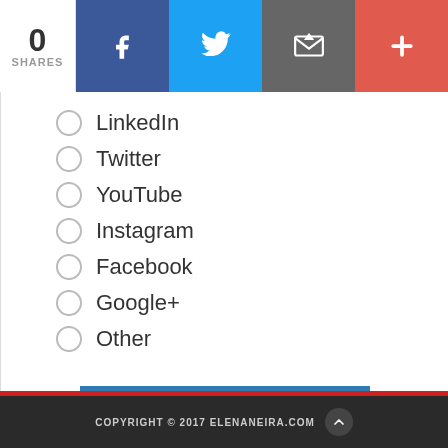[Figure (infographic): Social share bar with 0 shares count, Facebook, Twitter, Email, and Plus buttons]
LinkedIn
Twitter
YouTube
Instagram
Facebook
Google+
Other
VOTE
VIEW RESULTS
COPYRIGHT © 2017 ELENANEIRA.COM